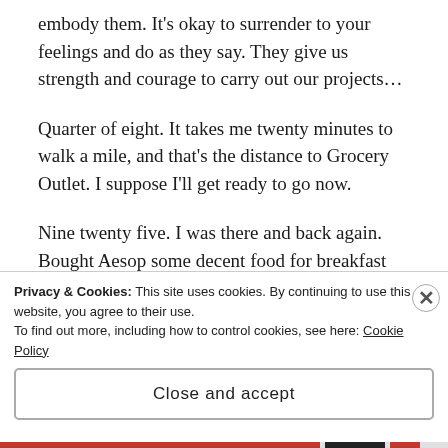embody them. It’s okay to surrender to your feelings and do as they say. They give us strength and courage to carry out our projects…
Quarter of eight. It takes me twenty minutes to walk a mile, and that’s the distance to Grocery Outlet. I suppose I’ll get ready to go now.
Nine twenty five. I was there and back again. Bought Aesop some decent food for breakfast for the next week. And I got some deli stuff for me. I didn’t buy anything to drink this time, so I’m missing my
Privacy & Cookies: This site uses cookies. By continuing to use this website, you agree to their use.
To find out more, including how to control cookies, see here: Cookie Policy
Close and accept